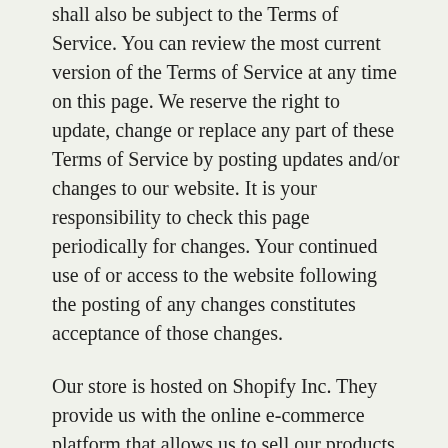shall also be subject to the Terms of Service. You can review the most current version of the Terms of Service at any time on this page. We reserve the right to update, change or replace any part of these Terms of Service by posting updates and/or changes to our website. It is your responsibility to check this page periodically for changes. Your continued use of or access to the website following the posting of any changes constitutes acceptance of those changes.
Our store is hosted on Shopify Inc. They provide us with the online e-commerce platform that allows us to sell our products and services to you.
SECTION 1 - ONLINE STORE TERMS
By agreeing to these Terms of Service, you represent that you are at least the age of majority in your state or province of residence, or that you are the age of majority in your state or province of residence and you have given us your consent to allow any of your minor dependents to use this site.